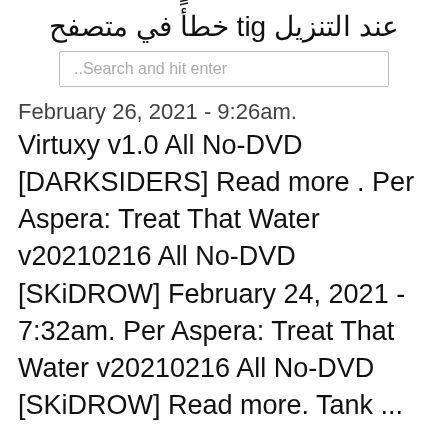عند التنزيل git خطأً في متصفح
Search and hit enter..
February 26, 2021 - 9:26am. Virtuxy v1.0 All No-DVD [DARKSIDERS] Read more . Per Aspera: Treat That Water v20210216 All No-DVD [SKiDROW] February 24, 2021 - 7:32am. Per Aspera: Treat That Water v20210216 All No-DVD [SKiDROW] Read more. Tank ...